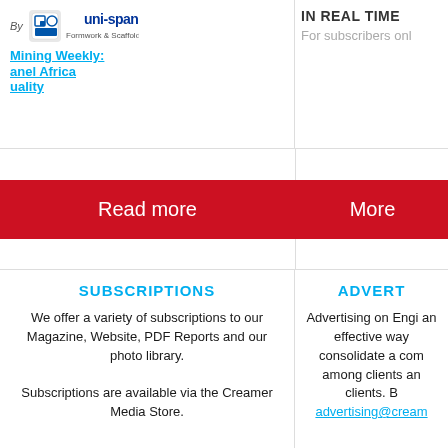[Figure (logo): Uni-span Formwork & Scaffolding logo with 'By' text prefix]
Mining Weekly
Panel Africa
quality
IN REAL TIME
For subscribers only
Read more
More
SUBSCRIPTIONS
We offer a variety of subscriptions to our Magazine, Website, PDF Reports and our photo library.

Subscriptions are available via the Creamer Media Store.
ADVERT
Advertising on Engi an effective way consolidate a com among clients an clients. B advertising@cream